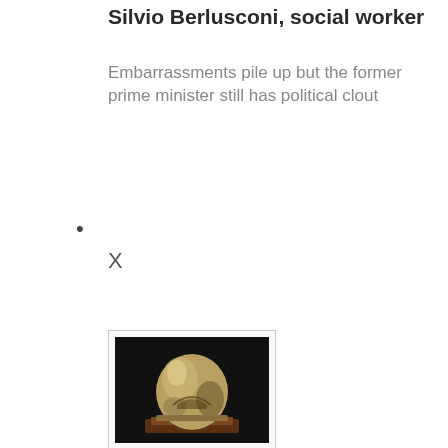Silvio Berlusconi, social worker
Embarrassments pile up but the former prime minister still has political clout
•
X
[Figure (photo): A small thumbnail photograph showing a dome-shaped sculpture or artifact on a dark background, with reddish-brown base]